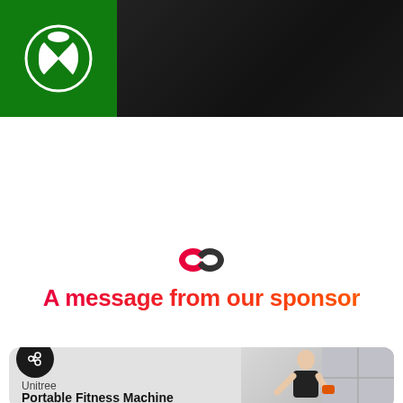[Figure (screenshot): Xbox banner: dark background with Xbox green logo box in top-left corner showing white Xbox controller icon]
[Figure (logo): Two interlocking rings icon in red and dark gray, representing a sponsored content marker]
A message from our sponsor
[Figure (screenshot): Unitree sponsor card with dark circle share icon, brand name 'Unitree', product title 'Portable Fitness Machine with Built-in Motor', and a man in black tank top doing fitness exercise on the right side]